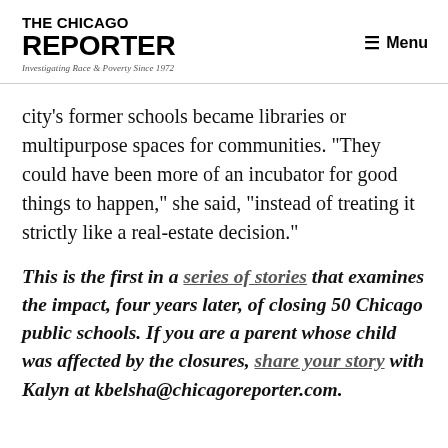THE CHICAGO REPORTER — Investigating Race & Poverty Since 1972 — Menu
city's former schools became libraries or multipurpose spaces for communities. “They could have been more of an incubator for good things to happen,” she said, “instead of treating it strictly like a real-estate decision.”
This is the first in a series of stories that examines the impact, four years later, of closing 50 Chicago public schools. If you are a parent whose child was affected by the closures, share your story with Kalyn at kbelsha@chicagoreporter.com.